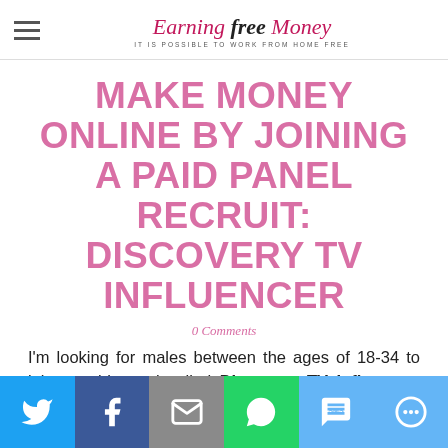Earning Free Money — IT IS POSSIBLE TO WORK FROM HOME FREE
MAKE MONEY ONLINE BY JOINING A PAID PANEL RECRUIT: DISCOVERY TV INFLUENCER
0 Comments
I'm looking for males between the ages of 18-34 to join a paid panel called Discovery TV Influencer. The paid study is about 15min.
[Figure (infographic): Social share bar with icons for Twitter, Facebook, Email, WhatsApp, SMS, and More]